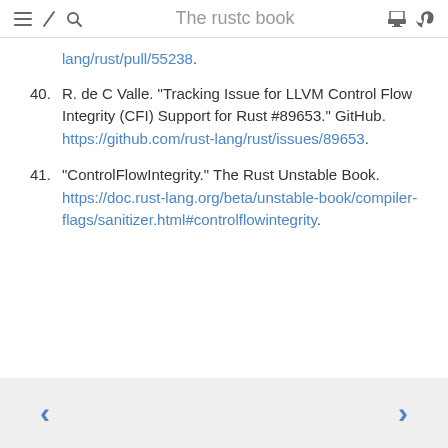The rustc book
lang/rust/pull/55238.
40. R. de C Valle. “Tracking Issue for LLVM Control Flow Integrity (CFI) Support for Rust #89653.” GitHub. https://github.com/rust-lang/rust/issues/89653.
41. “ControlFlowIntegrity.” The Rust Unstable Book. https://doc.rust-lang.org/beta/unstable-book/compiler-flags/sanitizer.html#controlflowintegrity.